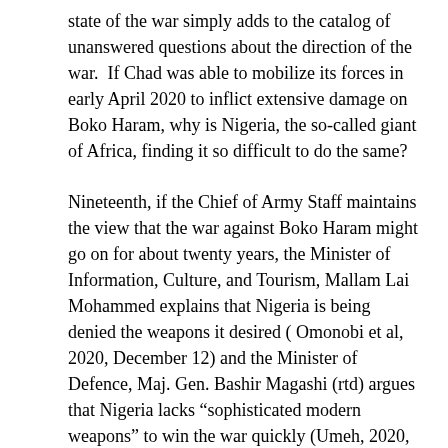state of the war simply adds to the catalog of unanswered questions about the direction of the war.  If Chad was able to mobilize its forces in early April 2020 to inflict extensive damage on Boko Haram, why is Nigeria, the so-called giant of Africa, finding it so difficult to do the same?
Nineteenth, if the Chief of Army Staff maintains the view that the war against Boko Haram might go on for about twenty years, the Minister of Information, Culture, and Tourism, Mallam Lai Mohammed explains that Nigeria is being denied the weapons it desired ( Omonobi et al, 2020, December 12) and the Minister of Defence, Maj. Gen. Bashir Magashi (rtd) argues that Nigeria lacks “sophisticated modern weapons” to win the war quickly (Umeh, 2020, December 7), then it means that Nigeria is forfeiting its sovereignty.  The reason is that under international law, in order for a nation to gain the